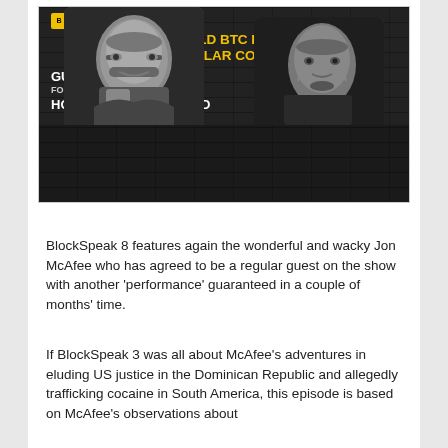[Figure (illustration): BlockSpeak.io podcast Episode 8 promotional image showing two men (John McAfee and Monty Munford) in black and white against a brick wall background. Text overlay: Episode 8: Could BTC Hit 1 Million If The US Dollar Collapses? Guest: John McAfee, Founder of McAfee Antivirus. Host: Monty Munford.]
BlockSpeak 8 features again the wonderful and wacky Jon McAfee who has agreed to be a regular guest on the show with another ‘performance’ guaranteed in a couple of months’ time.
If BlockSpeak 3 was all about McAfee’s adventures in eluding US justice in the Dominican Republic and allegedly trafficking cocaine in South America, this episode is based on McAfee’s observations about